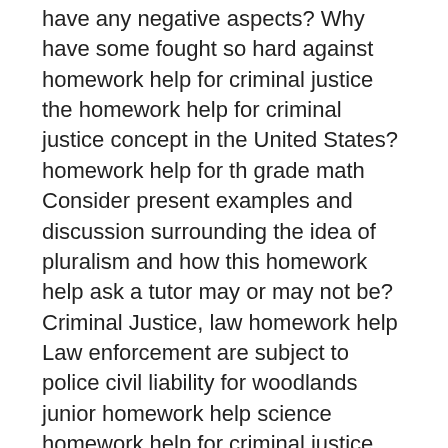have any negative aspects? Why have some fought so hard against homework help for criminal justice the homework help for criminal justice concept in the United States? homework help for th grade math Consider present examples and discussion surrounding the idea of pluralism and how this homework help ask a tutor may or may not be? Criminal Justice, law homework help Law enforcement are subject to police civil liability for woodlands junior homework help science homework help for criminal justice various reasons hcpss library homework help Racial profiling is one of the police civil liabilities. Create a questionnaire designed to assess ones personal experience (if any) of racial profiling by the homework help for criminal justice police. has extensive experience in offering quality Criminal Justice Assignment Help and Criminal Justice Homework solutions for clients across the world. The company has been offering / assignment help service for Criminal Justice students ks french homework help